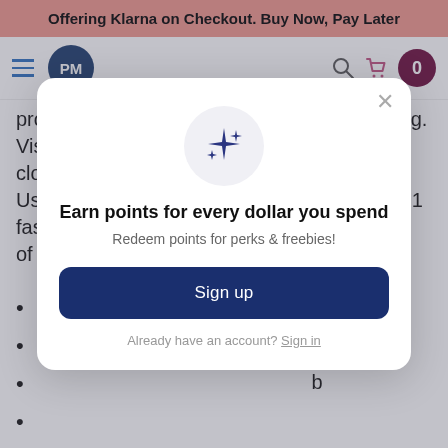Offering Klarna on Checkout. Buy Now, Pay Later
[Figure (screenshot): Navigation bar with hamburger menu, PM logo circle, search icon, cart icon, and cart count badge showing 0]
properties are ideal for coating and laminating. Viscosity is favored for wetting out fiberglass cloth and other reinforcement fabrics easily. Use this versatile marine epoxy resin with 521 fast or slow hardener to complete a number of boat building, repair, and restoration projects.
b
[Figure (infographic): Modal popup with sparkle icon, title 'Earn points for every dollar you spend', subtitle 'Redeem points for perks & freebies!', 'Sign up' button, and 'Already have an account? Sign in' link]
etched aluminum, bare steel, and lead.